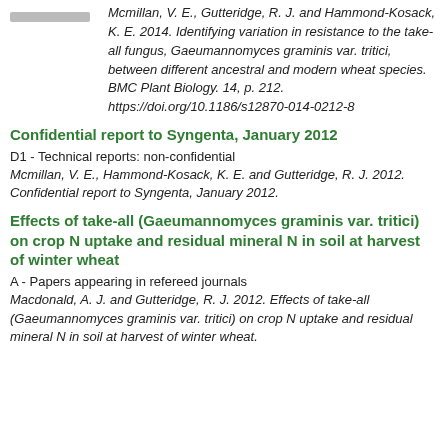A - Papers appearing in refereed journals
Mcmillan, V. E., Gutteridge, R. J. and Hammond-Kosack, K. E. 2014. Identifying variation in resistance to the take-all fungus, Gaeumannomyces graminis var. tritici, between different ancestral and modern wheat species. BMC Plant Biology. 14, p. 212. https://doi.org/10.1186/s12870-014-0212-8
Confidential report to Syngenta, January 2012
D1 - Technical reports: non-confidential
Mcmillan, V. E., Hammond-Kosack, K. E. and Gutteridge, R. J. 2012. Confidential report to Syngenta, January 2012.
Effects of take-all (Gaeumannomyces graminis var. tritici) on crop N uptake and residual mineral N in soil at harvest of winter wheat
A - Papers appearing in refereed journals
Macdonald, A. J. and Gutteridge, R. J. 2012. Effects of take-all (Gaeumannomyces graminis var. tritici) on crop N uptake and residual mineral N in soil at harvest of winter wheat.